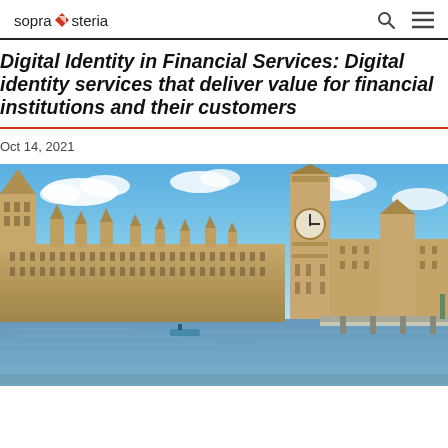sopra steria
Digital Identity in Financial Services: Digital identity services that deliver value for financial institutions and their customers
Oct 14, 2021
[Figure (photo): Photograph of the Houses of Parliament and Big Ben in London, viewed from across the River Thames on a sunny day with blue sky and white clouds.]